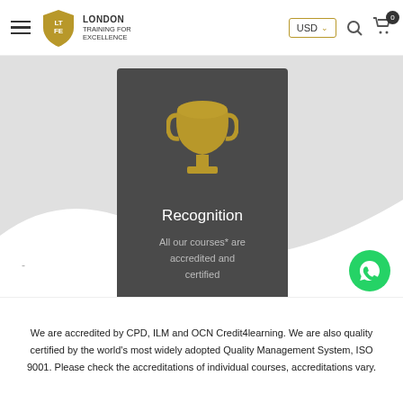[Figure (logo): London Training for Excellence logo with shield icon and hamburger menu, USD currency selector, search icon, and cart icon with 0 badge]
[Figure (infographic): Dark grey recognition card with gold trophy icon at top, white text 'Recognition' as title, and grey text 'All our courses* are accredited and certified']
[Figure (logo): WhatsApp green circle button with phone handset icon]
We are accredited by CPD, ILM and OCN Credit4learning. We are also quality certified by the world's most widely adopted Quality Management System, ISO 9001. Please check the accreditations of individual courses, accreditations vary.